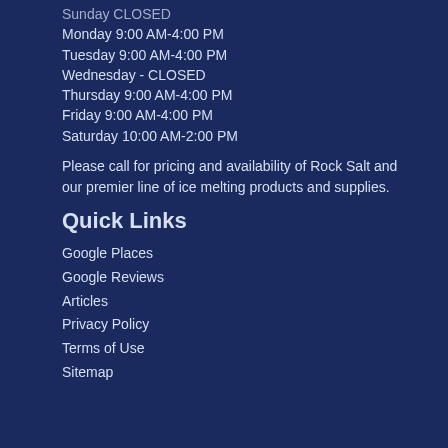Sunday CLOSED
Monday 9:00 AM-4:00 PM
Tuesday 9:00 AM-4:00 PM
Wednesday - CLOSED
Thursday 9:00 AM-4:00 PM
Friday 9:00 AM-4:00 PM
Saturday 10:00 AM-2:00 PM
Please call for pricing and availability of Rock Salt and our premier line of ice melting products and supplies.
Quick Links
Google Places
Google Reviews
Articles
Privacy Policy
Terms of Use
Sitemap